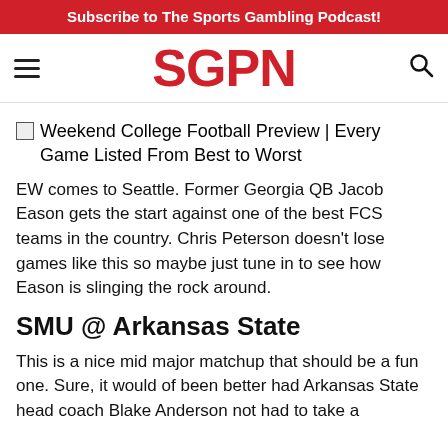Subscribe to The Sports Gambling Podcast!
[Figure (logo): SGPN logo in red bold text with hamburger menu and search icon]
Weekend College Football Preview | Every Game Listed From Best to Worst
EW comes to Seattle. Former Georgia QB Jacob Eason gets the start against one of the best FCS teams in the country. Chris Peterson doesn’t lose games like this so maybe just tune in to see how Eason is slinging the rock around.
SMU @ Arkansas State
This is a nice mid major matchup that should be a fun one. Sure, it would of been better had Arkansas State head coach Blake Anderson not had to take a